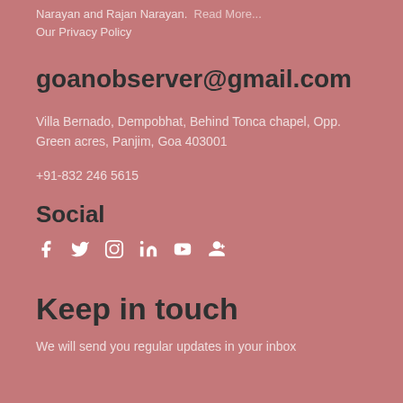Narayan and Rajan Narayan. Read More...
Our Privacy Policy
goanobserver@gmail.com
Villa Bernado, Dempobhat, Behind Tonca chapel, Opp. Green acres, Panjim, Goa 403001
+91-832 246 5615
Social
[Figure (infographic): Social media icons: Facebook, Twitter, Instagram, LinkedIn, YouTube, Google+]
Keep in touch
We will send you regular updates in your inbox